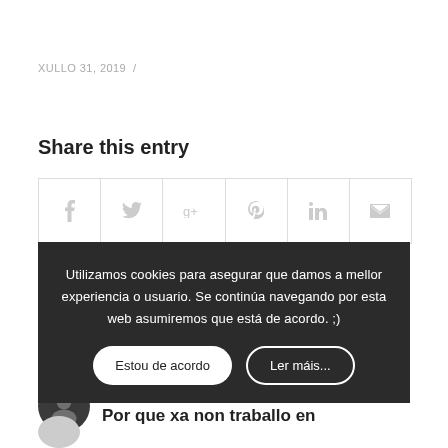XULLO 31, 2019  /
Share this entry
[Figure (other): Social share bar with icons: Facebook, Twitter, Google+, Pinterest, LinkedIn, Email]
Utilizamos cookies para asegurar que damos a mellor experiencia o usuario. Se continúa navegando por esta web asumiremos que está de acordo. ;)
Estou de acordo   Ler máis...
Por que xa non traballo en